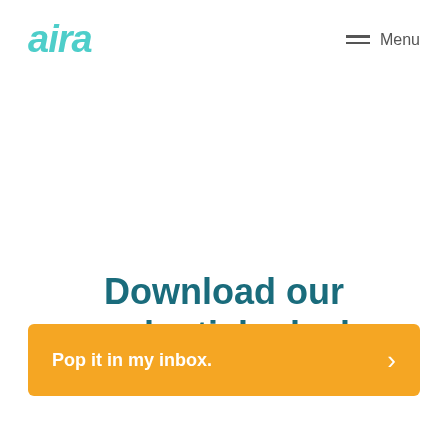aira  Menu
Download our credentials deck.
Pop it in my inbox.